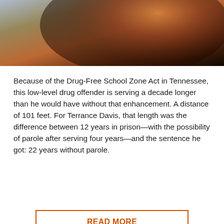[Figure (photo): Partial photo of a person, cropped at top of page, showing orange/brown tones suggesting a close-up portrait]
Because of the Drug-Free School Zone Act in Tennessee, this low-level drug offender is serving a decade longer than he would have without that enhancement. A distance of 101 feet. For Terrance Davis, that length was the difference between 12 years in prison—with the possibility of parole after serving four years—and the sentence he got: 22 years without parole.
READ MORE
Sara Moore
[Figure (photo): Partial photo at bottom of page showing a woman at what appears to be a Pennsylvania Dutch Ca... sign/setting with mugs visible]